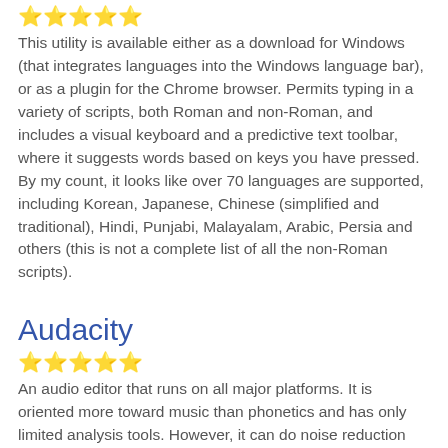[Figure (other): Five gold star rating icons]
This utility is available either as a download for Windows (that integrates languages into the Windows language bar), or as a plugin for the Chrome browser. Permits typing in a variety of scripts, both Roman and non-Roman, and includes a visual keyboard and a predictive text toolbar, where it suggests words based on keys you have pressed. By my count, it looks like over 70 languages are supported, including Korean, Japanese, Chinese (simplified and traditional), Hindi, Punjabi, Malayalam, Arabic, Persia and others (this is not a complete list of all the non-Roman scripts).
Audacity
[Figure (other): Five gold star rating icons]
An audio editor that runs on all major platforms. It is oriented more toward music than phonetics and has only limited analysis tools. However, it can do noise reduction and has some useful editing tools, including the ability to modify individual samples and to change the amplitude envelope.
SILKin